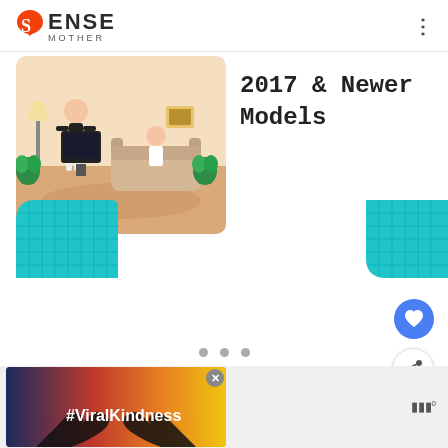SENSE MOTHER
[Figure (illustration): Illustration of a person standing in a living room with a TV, plants, lamp, and sofa. Person appears to be gaming or controlling a screen.]
2017 & Newer Models
[Figure (illustration): Teal decorative block with grid pattern on the bottom-left of the card section]
[Figure (illustration): Teal decorative block with grid pattern and rounded corner on the bottom-right of the card section]
[Figure (other): Carousel dot indicators (3 gray dots)]
[Figure (other): Blue circular FAB button with heart icon]
[Figure (other): White circular FAB button with share icon]
[Figure (photo): Advertisement banner showing silhouette of hands forming a heart shape against a sunset background, with text #ViralKindness]